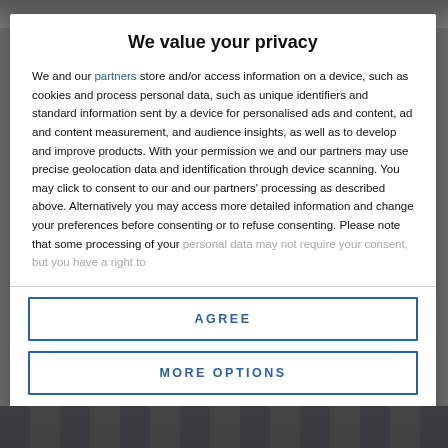[Figure (screenshot): Top background image strip, partially visible website header]
We value your privacy
We and our partners store and/or access information on a device, such as cookies and process personal data, such as unique identifiers and standard information sent by a device for personalised ads and content, ad and content measurement, and audience insights, as well as to develop and improve products. With your permission we and our partners may use precise geolocation data and identification through device scanning. You may click to consent to our and our partners' processing as described above. Alternatively you may access more detailed information and change your preferences before consenting or to refuse consenting. Please note that some processing of your personal data may not require your consent, but you have a right to
AGREE
MORE OPTIONS
[Figure (photo): Bottom background photo strip, partially visible]